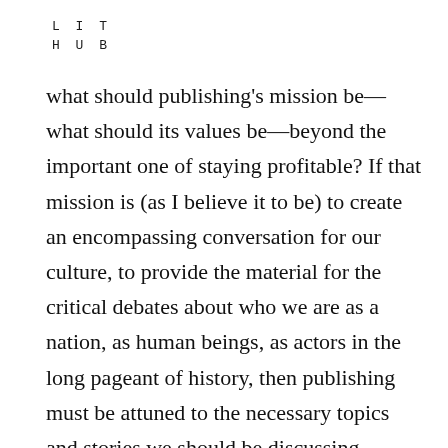L I T
H U B
what should publishing's mission be—what should its values be—beyond the important one of staying profitable? If that mission is (as I believe it to be) to create an encompassing conversation for our culture, to provide the material for the critical debates about who we are as a nation, as human beings, as actors in the long pageant of history, then publishing must be attuned to the necessary topics and stories we should be discussing. Further, it should be diligently searching for those voices and intellects that can help us make better sense